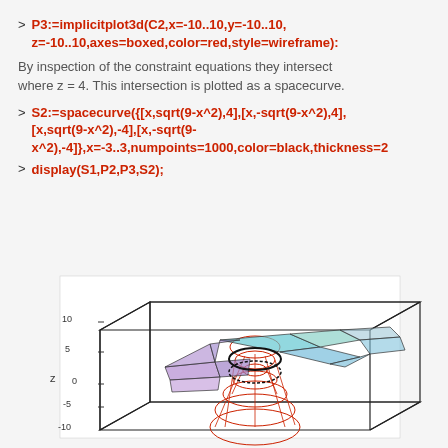> P3:=implicitplot3d(C2,x=-10..10,y=-10..10,z=-10..10,axes=boxed,color=red,style=wireframe):
By inspection of the constraint equations they intersect where z = 4. This intersection is plotted as a spacecurve.
> S2:=spacecurve({[x,sqrt(9-x^2),4],[x,-sqrt(9-x^2),4],[x,sqrt(9-x^2),-4],[x,-sqrt(9-x^2),-4]},x=-3..3,numpoints=1000,color=black,thickness=2
> display(S1,P2,P3,S2);
[Figure (other): 3D plot in a boxed axes showing a red wireframe surface (implicitplot3d), a colored triangulated surface (light blue/purple), and black space curves at z=4 and z=-4 intersections. Z-axis labeled with values 10, 5, 0, -5, -10.]